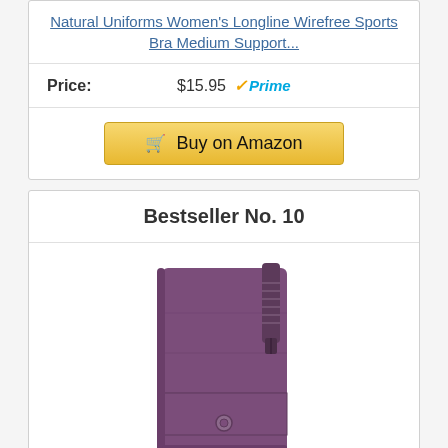Natural Uniforms Women's Longline Wirefree Sports Bra Medium Support...
Price: $15.95 Prime
Buy on Amazon
Bestseller No. 10
[Figure (photo): Purple leather women's wallet with snap button closure and zipper compartment]
Itslife Women's RFID Blocking Large Capacity Luxury